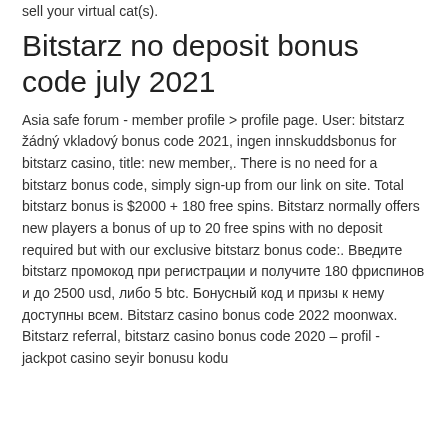sell your virtual cat(s).
Bitstarz no deposit bonus code july 2021
Asia safe forum - member profile &gt; profile page. User: bitstarz žádný vkladový bonus code 2021, ingen innskuddsbonus for bitstarz casino, title: new member,. There is no need for a bitstarz bonus code, simply sign-up from our link on site. Total bitstarz bonus is $2000 + 180 free spins. Bitstarz normally offers new players a bonus of up to 20 free spins with no deposit required but with our exclusive bitstarz bonus code:. Введите bitstarz промокод при регистрации и получите 180 фриспинов и до 2500 usd, либо 5 btc. Бонусный код и призы к нему доступны всем. Bitstarz casino bonus code 2022 moonwax. Bitstarz referral, bitstarz casino bonus code 2020 – profil - jackpot casino seyir bonusu kodu